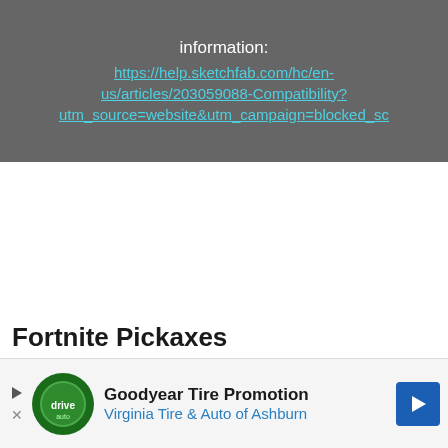information:
https://help.sketchfab.com/hc/en-us/articles/203059088-Compatibility?utm_source=website&utm_campaign=blocked_sc
Fortnite Pickaxes
Crowb
[Figure (infographic): Advertisement banner: Goodyear Tire Promotion - Virginia Tire & Auto of Ashburn, with logo and blue arrow button]